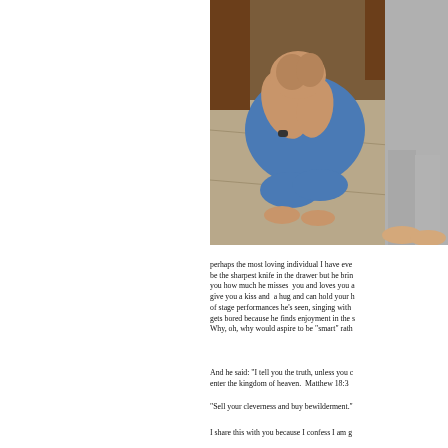[Figure (photo): A man crouching on the floor with his head in his hands, wearing a blue t-shirt and a watch, looking distressed. Another person in grey sweatpants stands nearby, visible from the waist down.]
perhaps the most loving individual I have ever... be the sharpest knife in the drawer but he brin... you how much he misses you and loves you a... give you a kiss and a hug and can hold your h... of stage performances he's seen, singing with ... gets bored because he finds enjoyment in the s... Why, oh, why would aspire to be "smart" rath...
And he said: "I tell you the truth, unless you c... enter the kingdom of heaven. Matthew 18:3
"Sell your cleverness and buy bewilderment."
I share this with you because I confess I am g...